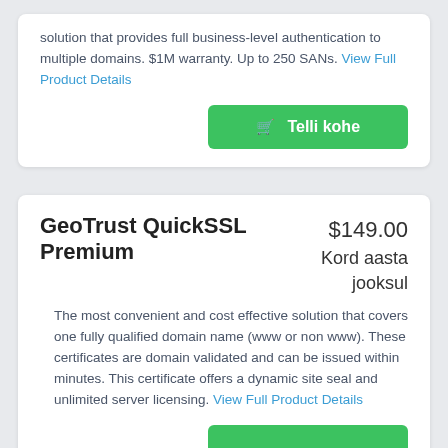solution that provides full business-level authentication to multiple domains. $1M warranty. Up to 250 SANs. View Full Product Details
[Figure (other): Green 'Telli kohe' (Order now) button with shopping cart icon]
GeoTrust QuickSSL Premium
$149.00 Kord aasta jooksul
The most convenient and cost effective solution that covers one fully qualified domain name (www or non www). These certificates are domain validated and can be issued within minutes. This certificate offers a dynamic site seal and unlimited server licensing. View Full Product Details
[Figure (other): Green 'Telli kohe' (Order now) button with shopping cart icon, partially visible at bottom]